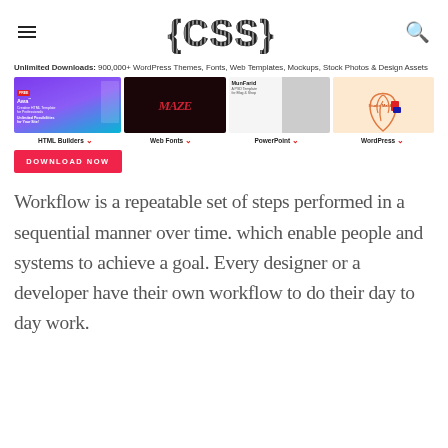{CSS}
Unlimited Downloads: 900,000+ WordPress Themes, Fonts, Web Templates, Mockups, Stock Photos & Design Assets
[Figure (screenshot): Advertisement banner showing HTML Builders, Web Fonts, PowerPoint, WordPress download categories with preview images and a DOWNLOAD NOW button]
Workflow is a repeatable set of steps performed in a sequential manner over time. which enable people and systems to achieve a goal. Every designer or a developer have their own workflow to do their day to day work.